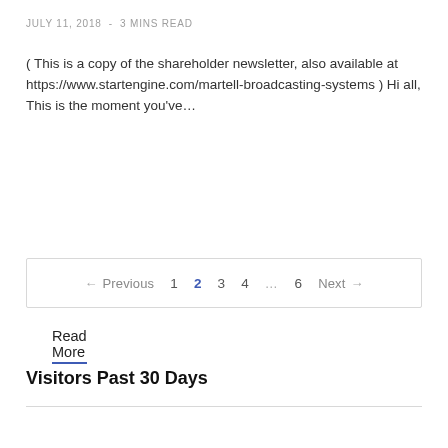JULY 11, 2018  -  3 MINS READ
( This is a copy of the shareholder newsletter, also available at https://www.startengine.com/martell-broadcasting-systems ) Hi all, This is the moment you've...
Read More
← Previous  1  2  3  4  …  6  Next →
Visitors Past 30 Days